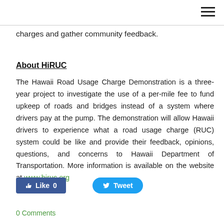charges and gather community feedback.
About HiRUC
The Hawaii Road Usage Charge Demonstration is a three-year project to investigate the use of a per-mile fee to fund upkeep of roads and bridges instead of a system where drivers pay at the pump. The demonstration will allow Hawaii drivers to experience what a road usage charge (RUC) system could be like and provide their feedback, opinions, questions, and concerns to Hawaii Department of Transportation. More information is available on the website at www.hiruc.org
Like 0
Tweet
0 Comments